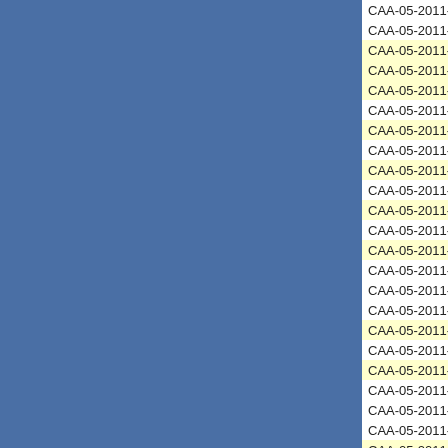| Case ID | Status | Date | Link |
| --- | --- | --- | --- |
| CAA-05-2011-0032 | Closed | 03/25/2011 | He... |
| CAA-05-2011-0033 | Closed | 03/25/2011 | Dy... |
| CAA-05-2011-0034 | Awaiting SEP | 03/29/2011 | So... |
| CAA-05-2011-0035 | Awaiting SEP | 03/31/2011 | Ca... |
| CAA-05-2011-0036 | Closed | 05/12/2011 | No... |
| CAA-05-2011-0037 | Closed | 05/12/2011 | No... |
| CAA-05-2011-0038 | Closed | 05/12/2011 | No... |
| CAA-05-2011-0039 | Closed | 05/13/2011 | Ni... |
| CAA-05-2011-0040 | Closed | 05/24/2011 | Th... |
| CAA-05-2011-0041 | Closed | 05/24/2011 | Ta... |
| CAA-05-2011-0042 | Awaiting SEP | 06/01/2011 | Th... |
| CAA-05-2011-0043 | Closed | 07/08/2011 | Al... |
| CAA-05-2011-0044 | Awaiting SEP | 07/12/2011 | Ta... |
| CAA-05-2011-0045 | Closed | 08/09/2011 | Sa... |
| CAA-05-2011-0046 | Closed | 08/16/2011 | Pi... |
| CAA-05-2011-0047 | Closed | 08/18/2011 | Fr... |
| CAA-05-2011-0048 | Closed | 08/18/2011 | Sh... |
| CAA-05-2011-0049 | Closed | 08/24/2011 | Br... |
| CAA-05-2011-0050 | Closed | 08/24/2011 | Ch... |
| CAA-05-2011-0051 | Closed | 09/02/2011 | Ro... |
| CAA-05-2011-0052 | Closed | 09/08/2011 | Ap... |
| CAA-05-2011-0053 | Closed | 09/14/2011 | Mo... |
| CAA-05-2011-0054 | Closed | 09/22/2011 | So... |
| CAA-05-2011-0055 | Awaiting SEP | 09/27/2011 | At... |